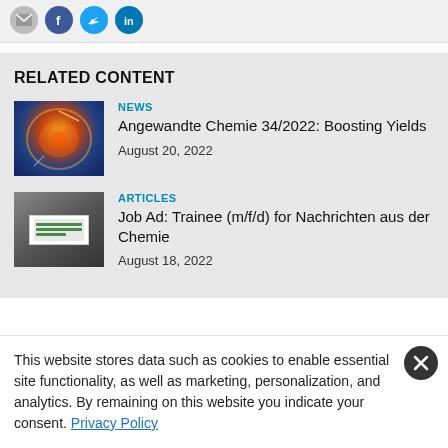[Figure (screenshot): Social media share icons: email (grey circle), Facebook (blue circle), Twitter (light blue circle), LinkedIn (blue circle)]
RELATED CONTENT
[Figure (photo): Circular scientific image with colorful molecular/chemical visualization on dark background]
NEWS
Angewandte Chemie 34/2022: Boosting Yields
August 20, 2022
[Figure (screenshot): Grey thumbnail with white label/logo in center for Nachrichten aus der Chemie]
ARTICLES
Job Ad: Trainee (m/f/d) for Nachrichten aus der Chemie
August 18, 2022
This website stores data such as cookies to enable essential site functionality, as well as marketing, personalization, and analytics. By remaining on this website you indicate your consent. Privacy Policy